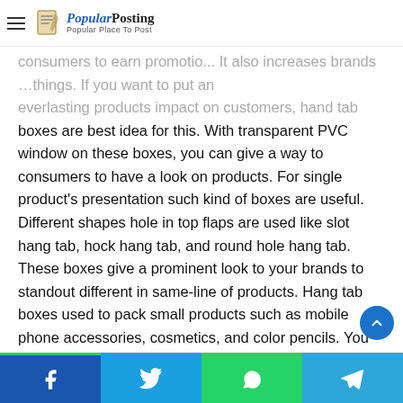Popular Posting — Popular Place To Post
consumers to earn promotio... everlasting products impact on customers, hand tab boxes are best idea for this. With transparent PVC window on these boxes, you can give a way to consumers to have a look on products. For single product's presentation such kind of boxes are useful. Different shapes hole in top flaps are used like slot hang tab, hock hang tab, and round hole hang tab. These boxes give a prominent look to your brands to standout different in same-line of products. Hang tab boxes used to pack small products such as mobile phone accessories, cosmetics, and color pencils. You can hang your multiple same products on hanging wires. Hang tab boxes placed small space by providing the hole in to top flap to hand products.
Facebook | Twitter | WhatsApp | Telegram